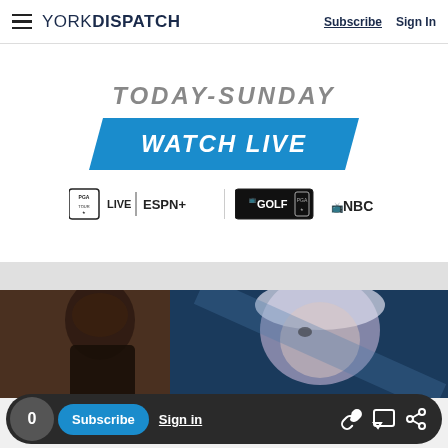YORK DISPATCH | Subscribe | Sign In
[Figure (infographic): PGA Tour advertisement banner: TODAY-SUNDAY WATCH LIVE with PGA Tour Live ESPN+, NBC Golf, and NBC logos]
[Figure (photo): Photo of a person at a presentation with a projected image of a woman's face in the background]
0 | Subscribe | Sign in